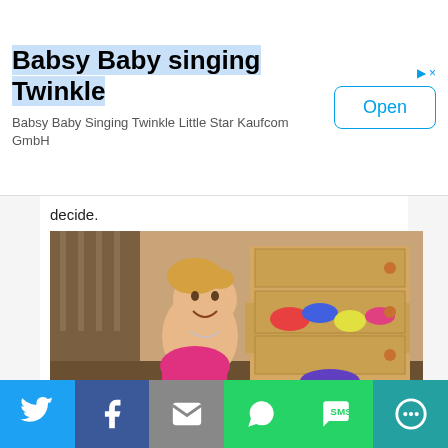[Figure (screenshot): App advertisement banner for 'Babsy Baby singing Twinkle' by Kaufcom GmbH with an Open button]
decide.
[Figure (photo): A toddler sitting in front of a wooden dresser with an open drawer full of colorful clothes, holding pink pants, laughing]
baby trying to dress
DON'T FORCE YOUR KIDS TO EAT
[Figure (screenshot): Social sharing bar at the bottom with Twitter, Facebook, Email, WhatsApp, SMS, and More buttons]